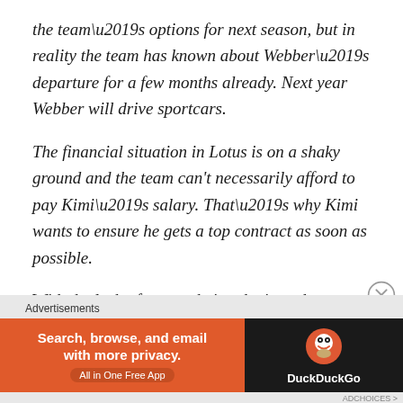the team’s options for next season, but in reality the team has known about Webber’s departure for a few months already. Next year Webber will drive sportcars.
The financial situation in Lotus is on a shaky ground and the team can’t necessarily afford to pay Kimi’s salary. That’s why Kimi wants to ensure he gets a top contract as soon as possible.
With the lack of money being the issue here, to fund the team’s development and resources, Lotus risk losing Kimi. But we know Kimi isn’t tempted for just a bigger salary:
[Figure (other): DuckDuckGo advertisement banner: orange background with text 'Search, browse, and email with more privacy. All in One Free App' on the left, and DuckDuckGo logo on dark background on the right.]